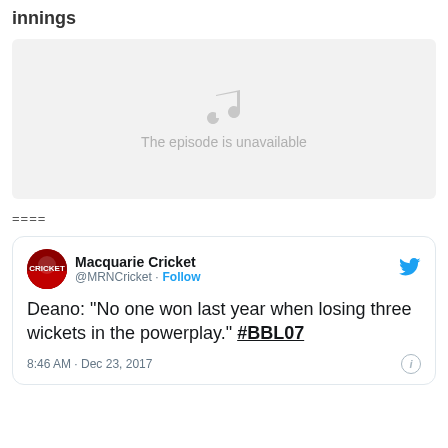innings
[Figure (other): Podcast episode player showing unavailable state with music note icon and text 'The episode is unavailable']
====
Macquarie Cricket @MRNCricket · Follow

Deano: "No one won last year when losing three wickets in the powerplay." #BBL07

8:46 AM · Dec 23, 2017